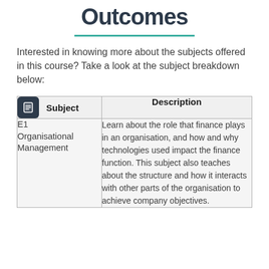Outcomes
Interested in knowing more about the subjects offered in this course? Take a look at the subject breakdown below:
| Subject | Description |
| --- | --- |
| E1 Organisational Management | Learn about the role that finance plays in an organisation, and how and why technologies used impact the finance function. This subject also teaches about the structure and how it interacts with other parts of the organisation to achieve company objectives. |